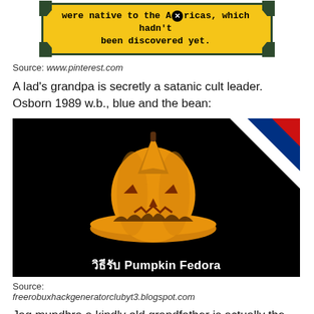[Figure (screenshot): Yellow banner with dark green border corners showing text 'were native to the Americas, which hadn't been discovered yet.' with a close/X button icon]
Source: www.pinterest.com
A lad's grandpa is secretly a satanic cult leader. Osborn 1989 w.b., blue and the bean:
[Figure (screenshot): Black background image showing an orange pumpkin-shaped fedora hat with jack-o-lantern face, with diagonal red, white, and blue stripes in the top-right corner. Text at bottom reads 'วิธีรับ Pumpkin Fedora']
Source:
freerobuxhackgeneratorclubyt3.blogspot.com
Jag mundhra a kindly old grandfather is actually the leader of murderous satanic